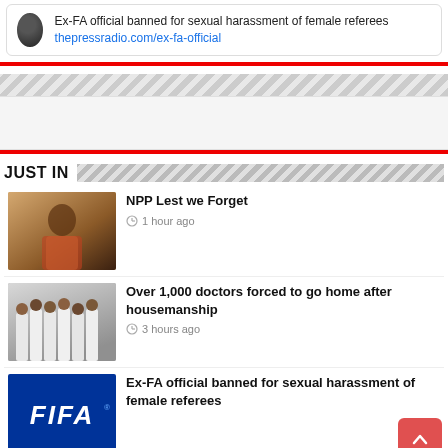Ex-FA official banned for sexual harassment of female referees thepressradio.com/ex-fa-official
[Figure (infographic): Hatched diagonal stripe decorative divider]
[Figure (other): Advertisement placeholder block]
JUST IN
[Figure (photo): Photo of a person in colorful clothing, thumbnail for NPP Lest we Forget article]
NPP Lest we Forget
1 hour ago
[Figure (photo): Photo of doctors in white coats, thumbnail for Over 1,000 doctors article]
Over 1,000 doctors forced to go home after housemanship
3 hours ago
[Figure (photo): FIFA logo on blue background, thumbnail for Ex-FA official article]
Ex-FA official banned for sexual harassment of female referees